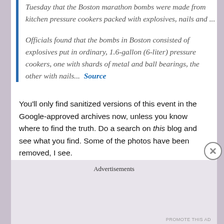Tuesday that the Boston marathon bombs were made from kitchen pressure cookers packed with explosives, nails and ...
Officials found that the bombs in Boston consisted of explosives put in ordinary, 1.6-gallon (6-liter) pressure cookers, one with shards of metal and ball bearings, the other with nails... Source
You'll only find sanitized versions of this event in the Google-approved archives now, unless you know where to find the truth. Do a search on this blog and see what you find. Some of the photos have been removed, I see.
Advertisements